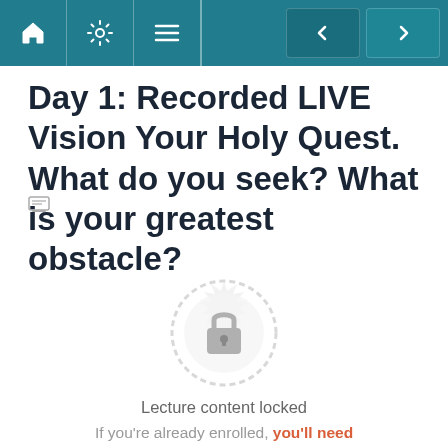Navigation bar with home, settings, menu icons and prev/next buttons
Day 1: Recorded LIVE Vision Your Holy Quest. What do you seek? What is your greatest obstacle?
[Figure (illustration): A locked badge/seal icon with a padlock in the center, greyed out, indicating locked content]
Lecture content locked
If you're already enrolled, you'll need